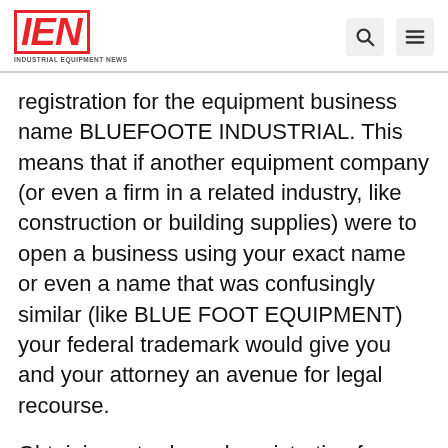IEN INDUSTRIAL EQUIPMENT NEWS
registration for the equipment business name BLUEFOOTE INDUSTRIAL. This means that if another equipment company (or even a firm in a related industry, like construction or building supplies) were to open a business using your exact name or even a name that was confusingly similar (like BLUE FOOT EQUIPMENT) your federal trademark would give you and your attorney an avenue for legal recourse.
Obtaining a trademark registration for your equipment business name today also offers you protection into the future, assuming you keep your registration updated. Registering your trademark with the United States Patent and Trademark Office (USPTO)...